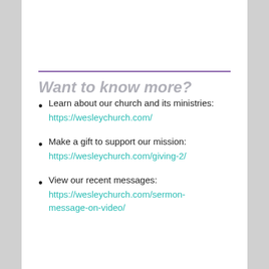Want to know more?
Learn about our church and its ministries: https://wesleychurch.com/
Make a gift to support our mission: https://wesleychurch.com/giving-2/
View our recent messages: https://wesleychurch.com/sermon-message-on-video/